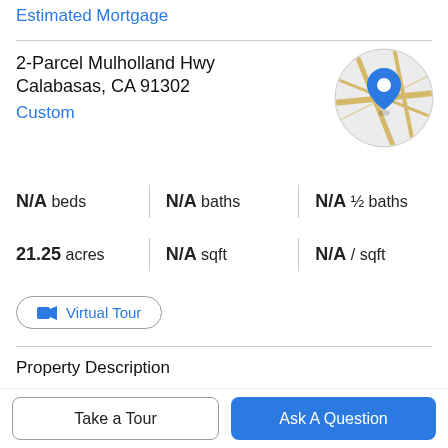Estimated Mortgage
2-Parcel Mulholland Hwy
Calabasas, CA 91302
Custom
[Figure (map): Circular map thumbnail showing a location pin marker on a street map]
N/A beds   N/A baths   N/A ½ baths
21.25 acres   N/A sqft   N/A / sqft
Virtual Tour
Property Description
Twenty-one beautiful acres of land centrally located in the Santa Monica Mountains. Incredibly rare opportunity to
Take a Tour
Ask A Question